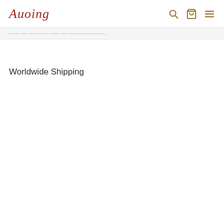Auoing
... ... ... ... ... ... ...
Worldwide Shipping